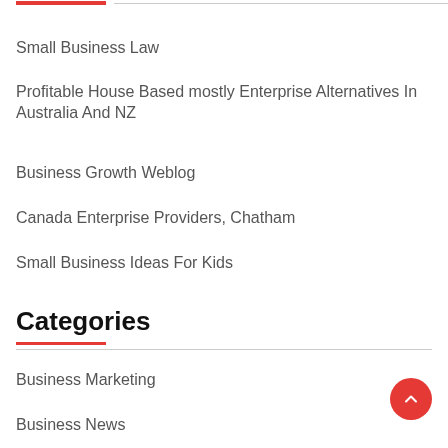Small Business Law
Profitable House Based mostly Enterprise Alternatives In Australia And NZ
Business Growth Weblog
Canada Enterprise Providers, Chatham
Small Business Ideas For Kids
Categories
Business Marketing
Business News